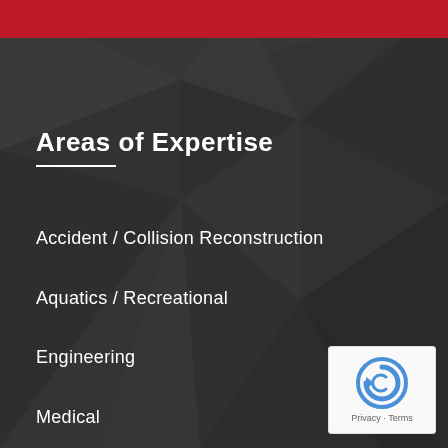Areas of Expertise
Accident / Collision Reconstruction
Aquatics / Recreational
Engineering
Medical
Premise Liability